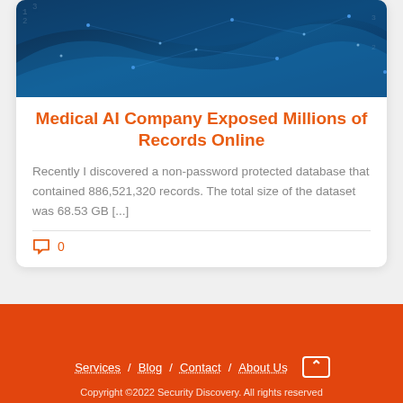[Figure (illustration): Blue abstract technology background with network dots and wave patterns]
Medical AI Company Exposed Millions of Records Online
Recently I discovered a non-password protected database that contained 886,521,320 records. The total size of the dataset was 68.53 GB [...]
0
Services / Blog / Contact / About Us   Copyright ©2022 Security Discovery. All rights reserved